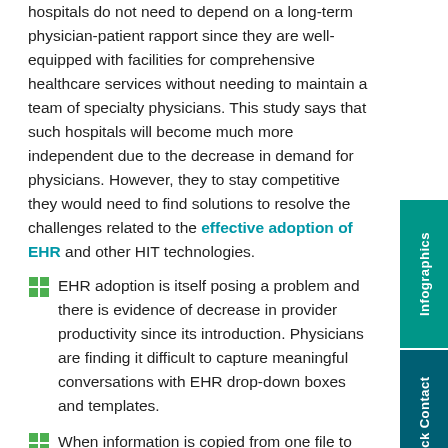hospitals do not need to depend on a long-term physician-patient rapport since they are well-equipped with facilities for comprehensive healthcare services without needing to maintain a team of specialty physicians. This study says that such hospitals will become much more independent due to the decrease in demand for physicians. However, they to stay competitive they would need to find solutions to resolve the challenges related to the effective adoption of EHR and other HIT technologies.
EHR adoption is itself posing a problem and there is evidence of decrease in provider productivity since its introduction. Physicians are finding it difficult to capture meaningful conversations with EHR drop-down boxes and templates.
When information is copied from one file to another in the EHR system it could result in the entry of irrelevant or wrong information.
Speech recognition software does not guarantee accuracy in clinical documentation. The software does not recognize grammatical mistakes and understand the rules of